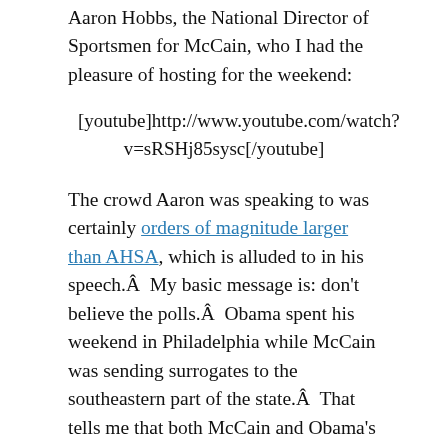Aaron Hobbs, the National Director of Sportsmen for McCain, who I had the pleasure of hosting for the weekend:
[youtube]http://www.youtube.com/watch?v=sRSHj85sysc[/youtube]
The crowd Aaron was speaking to was certainly orders of magnitude larger than AHSA, which is alluded to in his speech.Â  My basic message is: don’t believe the polls.Â  Obama spent his weekend in Philadelphia while McCain was sending surrogates to the southeastern part of the state.Â  That tells me that both McCain and Obama’s internal polling is showing the race as a dead heat, and that Obama’s polling is telling him his support in Philadelphia and to have...